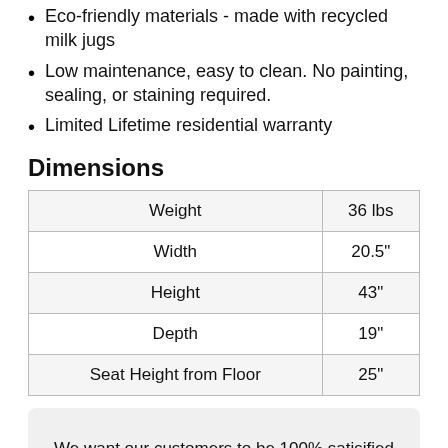Eco-friendly materials - made with recycled milk jugs
Low maintenance, easy to clean. No painting, sealing, or staining required.
Limited Lifetime residential warranty
Dimensions
|  |  |
| --- | --- |
| Weight | 36 lbs |
| Width | 20.5" |
| Height | 43" |
| Depth | 19" |
| Seat Height from Floor | 25" |
We want our customers to be 100% satisified with their purchase. We offer a 30 day return policy on all purchases. Read more here